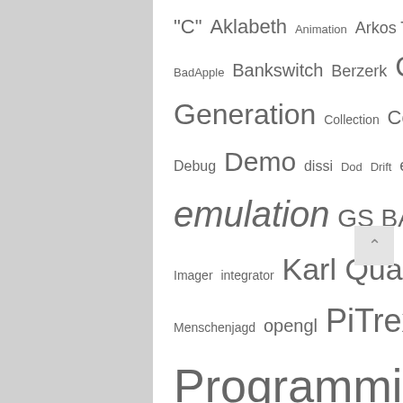[Figure (infographic): Tag cloud with words of varying sizes representing categories/tags: "C", Aklabeth, Animation, Arkos Tracker, BadApple, Bankswitch, Berzerk, Code Generation, Collection, Configuration, Debug, Demo, dissi, Dod, Drift, eEprom, emulation, GS BASIC, hardware, Imager, integrator, Karl Quappe, laf, Menschenjagd, opengl, PiTrex, Programming, psg, Release, Samples, Shiftreg, Sourcecode, Strings, Telengard, Tools, vecci, VecFever, VecLink, Vector, vectorblade, Vectorize, VIA, vide, VPatrol, YM]